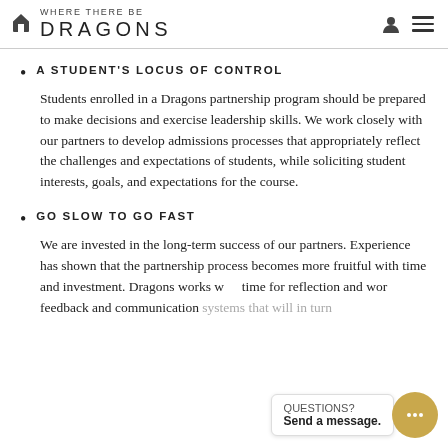WHERE THERE BE DRAGONS
A STUDENT'S LOCUS OF CONTROL
Students enrolled in a Dragons partnership program should be prepared to make decisions and exercise leadership skills. We work closely with our partners to develop admissions processes that appropriately reflect the challenges and expectations of students, while soliciting student interests, goals, and expectations for the course.
GO SLOW TO GO FAST
We are invested in the long-term success of our partners. Experience has shown that the partnership process becomes more fruitful with time and investment. Dragons works with time for reflection and work, feedback and communication systems that will in turn